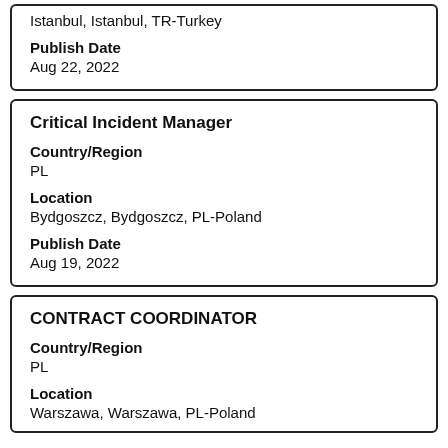Istanbul, Istanbul, TR-Turkey
Publish Date
Aug 22, 2022
Critical Incident Manager
Country/Region
PL
Location
Bydgoszcz, Bydgoszcz, PL-Poland
Publish Date
Aug 19, 2022
CONTRACT COORDINATOR
Country/Region
PL
Location
Warszawa, Warszawa, PL-Poland